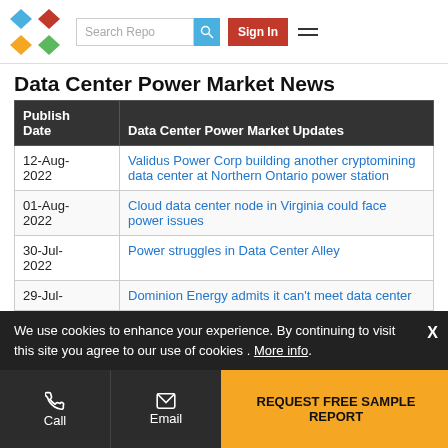Search Repo | Sign In
Data Center Power Market News
| Publish Date | Data Center Power Market Updates |
| --- | --- |
| 12-Aug-2022 | Validus Power Corp building another cryptomining data center at Northern Ontario power station |
| 01-Aug-2022 | Cloud data center node in Virginia could face power issues |
| 30-Jul-2022 | Power struggles in Data Center Alley |
| 29-Jul-2022 | Dominion Energy admits it can't meet data center... |
We use cookies to enhance your experience. By continuing to visit this site you agree to our use of cookies . More info.
Call | Email | REQUEST FREE SAMPLE REPORT